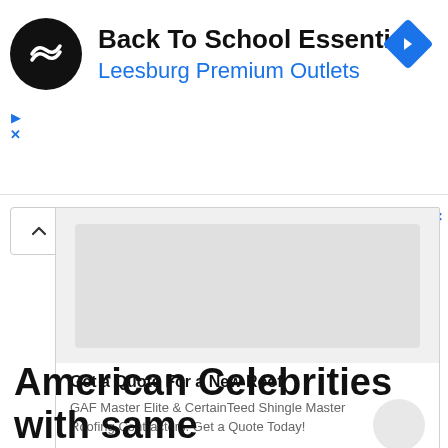[Figure (advertisement): Ad banner for Back To School Essentials at Leesburg Premium Outlets with circular logo and blue diamond icon]
[Figure (advertisement): Ad card for roofing service with image placeholder, title Get a Quote For a New Roof, and description about GAF Master Elite and CertainTeed Shingle Master Roofing Contractors]
American Celebrities with same